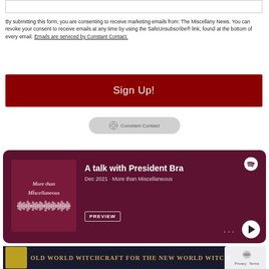By submitting this form, you are consenting to receive marketing emails from: The Miscellany News. You can revoke your consent to receive emails at any time by using the SafeUnsubscribe® link, found at the bottom of every email. Emails are serviced by Constant Contact.
Sign Up!
[Figure (screenshot): Constant Contact badge/logo button]
[Figure (screenshot): Spotify embedded podcast player showing 'More than Miscellaneous' podcast with episode 'A talk with President Bra[dford]', Dec 2021, with preview button and play controls on dark maroon background]
[Figure (screenshot): Bottom banner showing 'Old World Witchcraft for the New World Witch' text on dark background with decorative icon]